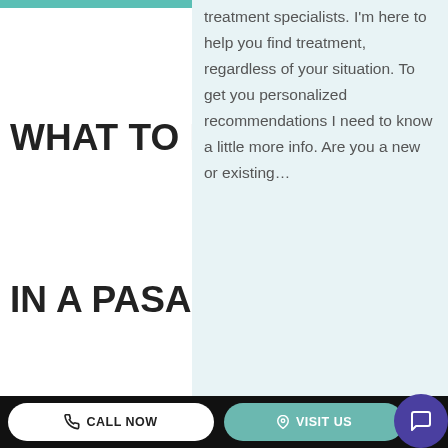WHAT TO L…
IN A PASA…
treatment specialists. I'm here to help you find treatment, regardless of your situation. To get you personalized recommendations I need to know a little more info. Are you a new or existing…
I'm a new patient
I'm an existing patient
If you are ready to… you need to find t… meet your needs. know which therapies a given Pasadena reha…
CALL NOW   VISIT US